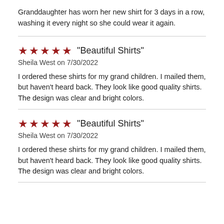Granddaughter has worn her new shirt for 3 days in a row, washing it every night so she could wear it again.
★★★★★ "Beautiful Shirts"
Sheila West on 7/30/2022
I ordered these shirts for my grand children. I mailed them, but haven't heard back. They look like good quality shirts. The design was clear and bright colors.
★★★★★ "Beautiful Shirts"
Sheila West on 7/30/2022
I ordered these shirts for my grand children. I mailed them, but haven't heard back. They look like good quality shirts. The design was clear and bright colors.